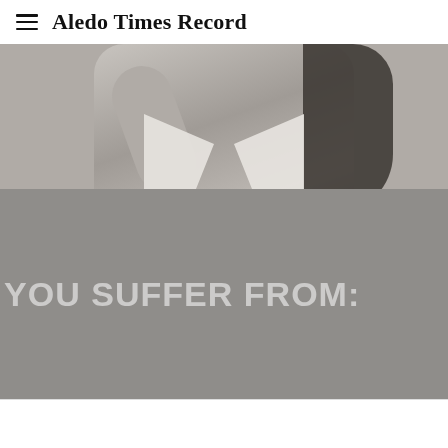Aledo Times Record
[Figure (photo): Grayscale photo of a person from the shoulders up, with dark hair, wearing a collared shirt, with one arm raised. Below the photo is a grey overlay banner with large text reading 'YOU SUFFER FROM:']
YOU SUFFER FROM: